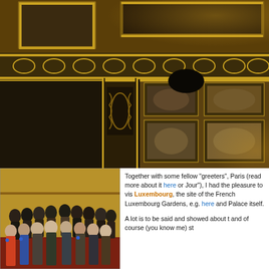[Figure (photo): Interior of an ornate palace or museum hall, showing gilded walls, decorative friezes, carved dark wood paneling, painted ceiling panels with murals, and elaborate gold architectural details. Photo taken looking upward at an angle.]
[Figure (photo): Group photo of approximately 25 people (greeters) standing on ornate stairs inside the Luxembourg Palace, Paris. People are dressed in winter coats.]
Together with some fellow "greeters", Paris (read more about it here or Jour"), I had the pleasure to visit Luxembourg, the site of the French Luxembourg Gardens, e.g. here and Palace itself.
A lot is to be said and showed about t and of course (you know me) st